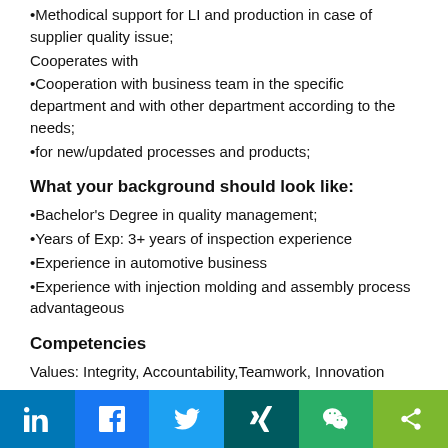•Methodical support for LI and production in case of supplier quality issue;
Cooperates with
•Cooperation with business team in the specific department and with other department according to the needs;
•for new/updated processes and products;
What your background should look like:
•Bachelor's Degree in quality management;
•Years of Exp: 3+ years of inspection experience
•Experience in automotive business
•Experience with injection molding and assembly process advantageous
Competencies
Values: Integrity, Accountability,Teamwork, Innovation
About TE Connectivity
TE Connectivity is a global industrial technology leader